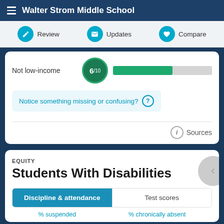Walter Strom Middle School
Review | Updates | Compare
Not low-income  6/10
Notice something missing or confusing? ?
Sources
EQUITY
Students With Disabilities
Discipline & attendance | Test scores
% suspended   % chronically absent